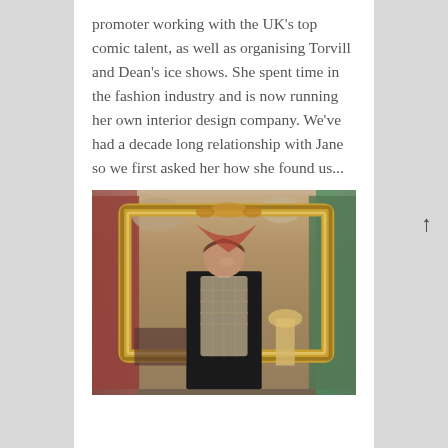promoter working with the UK's top comic talent, as well as organising Torvill and Dean's ice shows. She spent time in the fashion industry and is now running her own interior design company. We've had a decade long relationship with Jane so we first asked her how she found us...
[Figure (photo): A woman in a black outfit standing behind an ornate golden picture frame in what appears to be an antique or vintage shop, surrounded by various items including lamps and colourful textiles.]